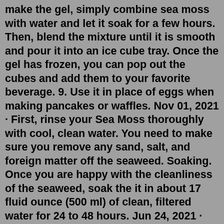make the gel, simply combine sea moss with water and let it soak for a few hours. Then, blend the mixture until it is smooth and pour it into an ice cube tray. Once the gel has frozen, you can pop out the cubes and add them to your favorite beverage. 9. Use it in place of eggs when making pancakes or waffles. Nov 01, 2021 · First, rinse your Sea Moss thoroughly with cool, clean water. You need to make sure you remove any sand, salt, and foreign matter off the seaweed. Soaking. Once you are happy with the cleanliness of the seaweed, soak the it in about 17 fluid ounce (500 ml) of clean, filtered water for 24 to 48 hours. Jun 24, 2021 · Once you have your hands on your sea moss, wash it thoroughly. After you are satisfied that it's clean enough, put your sea moss in a clean glass bowl and fill it with fresh water. Place the lid on top of the bowl and let it refrigerate for about 24 hours. The next day, take it out from the bowl and rinse it one more time and that's about it. Rinse and clean your sea moss and pat it dry. Dry the sea moss